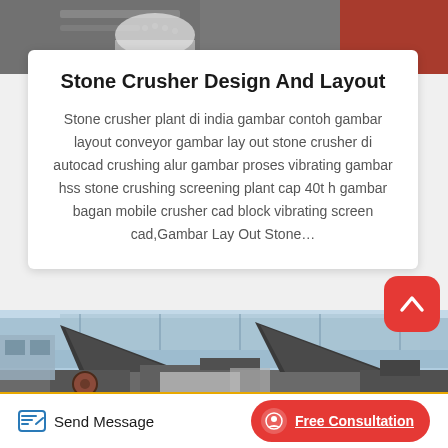[Figure (photo): Top portion of industrial machinery/equipment, partially visible at top of page]
Stone Crusher Design And Layout
Stone crusher plant di india gambar contoh gambar layout conveyor gambar lay out stone crusher di autocad crushing alur gambar proses vibrating gambar hss stone crushing screening plant cap 40t h gambar bagan mobile crusher cad block vibrating screen cad,Gambar Lay Out Stone…
[Figure (photo): Outdoor industrial stone crusher plant machinery with large conical crushers visible against a warehouse/factory background]
Send Message   Free Consultation